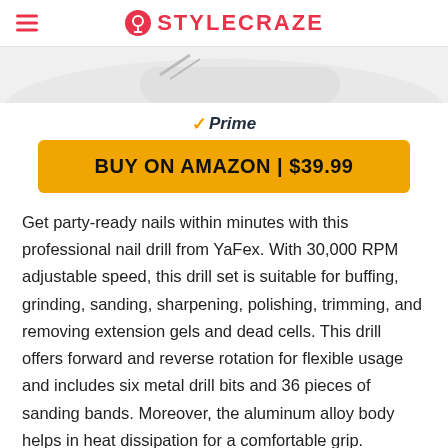STYLECRAZE
[Figure (photo): Partial product image cropped at top of page - nail drill device on light background]
✓Prime
BUY ON AMAZON | $39.99
Get party-ready nails within minutes with this professional nail drill from YaFex. With 30,000 RPM adjustable speed, this drill set is suitable for buffing, grinding, sanding, sharpening, polishing, trimming, and removing extension gels and dead cells. This drill offers forward and reverse rotation for flexible usage and includes six metal drill bits and 36 pieces of sanding bands. Moreover, the aluminum alloy body helps in heat dissipation for a comfortable grip.